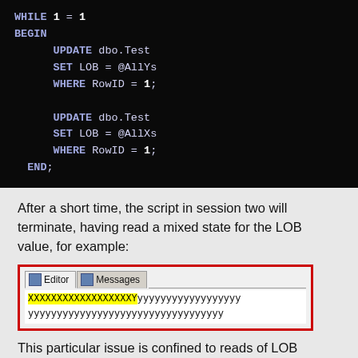[Figure (screenshot): Black background code block showing SQL WHILE loop with BEGIN/END, two UPDATE statements for dbo.Test setting LOB column]
After a short time, the script in session two will terminate, having read a mixed state for the LOB value, for example:
[Figure (screenshot): SQL Server Management Studio Messages tab showing mixed LOB read result: highlighted X characters followed by Y characters in zigzag font]
This particular issue is confined to reads of LOB column values that are spread across multiple pages,